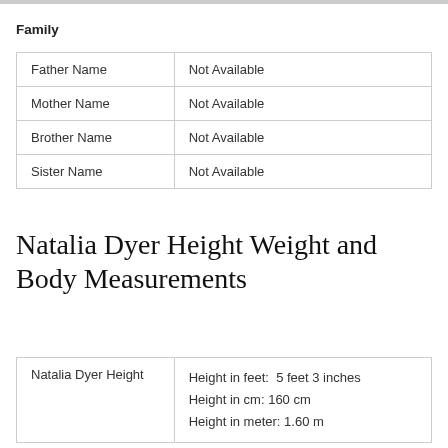Family
| Father Name | Not Available |
| Mother Name | Not Available |
| Brother Name | Not Available |
| Sister Name | Not Available |
Natalia Dyer Height Weight and Body Measurements
| Natalia Dyer Height | Height in feet:  5 feet 3 inches
Height in cm: 160 cm
Height in meter: 1.60 m |